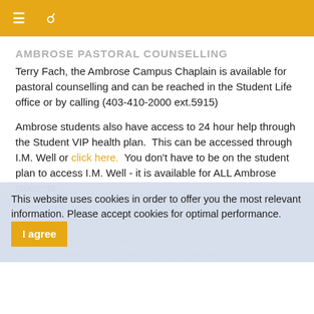☰  🔍
AMBROSE PASTORAL COUNSELLING
Terry Fach, the Ambrose Campus Chaplain is available for pastoral counselling and can be reached in the Student Life office or by calling (403-410-2000 ext.5915)
Ambrose students also have access to 24 hour help through the Student VIP health plan.  This can be accessed through I.M. Well or click here.  You don't have to be on the student plan to access I.M. Well - it is available for ALL Ambrose students.
OFF CAMPUS
One Line Sexual Assault Services In Alberta Alberta's One Line for Sexual Violence is available to anyone in Alberta who is looking for support or
This website uses cookies in order to offer you the most relevant information. Please accept cookies for optimal performance.
I agree